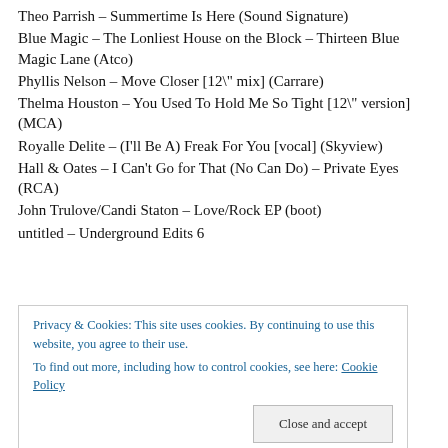Theo Parrish – Summertime Is Here (Sound Signature)
Blue Magic – The Lonliest House on the Block – Thirteen Blue Magic Lane (Atco)
Phyllis Nelson – Move Closer [12" mix] (Carrare)
Thelma Houston – You Used To Hold Me So Tight [12" version] (MCA)
Royalle Delite – (I'll Be A) Freak For You [vocal] (Skyview)
Hall & Oates – I Can't Go for That (No Can Do) – Private Eyes (RCA)
John Trulove/Candi Staton – Love/Rock EP (boot)
untitled – Underground Edits 6
Privacy & Cookies: This site uses cookies. By continuing to use this website, you agree to their use.
To find out more, including how to control cookies, see here: Cookie Policy
margaritas – Margarita [Hot Edit] – Obsesion (Environ)